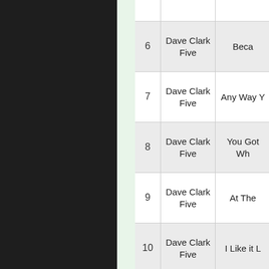| # | Artist | Song |
| --- | --- | --- |
| 6 | Dave Clark Five | Beca… |
| 7 | Dave Clark Five | Any Way Y… |
| 8 | Dave Clark Five | You Got Wh… |
| 9 | Dave Clark Five | At The… |
| 10 | Dave Clark Five | I Like it L… |